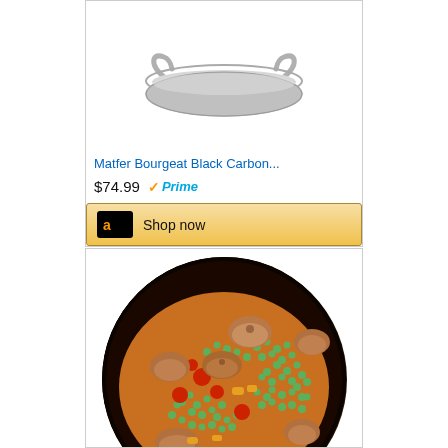[Figure (photo): Stainless steel paella pan with two handles, product image on white background]
Matfer Bourgeat Black Carbon...
$74.99 Prime
Shop now
[Figure (photo): Overhead shot of a paella dish with green peas, mushrooms, tomatoes, and other vegetables in a dark pan]